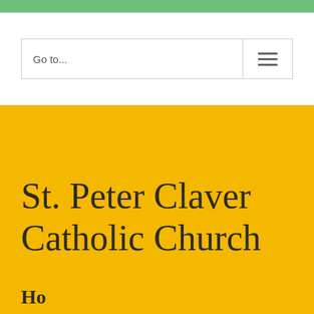Go to...
St. Peter Claver Catholic Church
Ho...